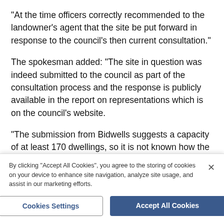“At the time officers correctly recommended to the landowner’s agent that the site be put forward in response to the council’s then current consultation.”
The spokesman added: “The site in question was indeed submitted to the council as part of the consultation process and the response is publicly available in the report on representations which is on the council’s website.
“The submission from Bidwells suggests a capacity of at least 170 dwellings, so it is not known how the figure of 600 homes was arrived at. Officers’ handling
By clicking “Accept All Cookies”, you agree to the storing of cookies on your device to enhance site navigation, analyze site usage, and assist in our marketing efforts.
Cookies Settings
Accept All Cookies